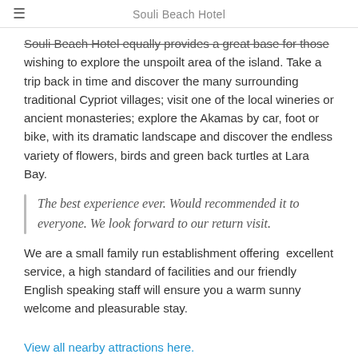Souli Beach Hotel
Souli Beach Hotel equally provides a great base for those wishing to explore the unspoilt area of the island. Take a trip back in time and discover the many surrounding traditional Cypriot villages; visit one of the local wineries or ancient monasteries; explore the Akamas by car, foot or bike, with its dramatic landscape and discover the endless variety of flowers, birds and green back turtles at Lara Bay.
The best experience ever. Would recommended it to everyone. We look forward to our return visit.
We are a small family run establishment offering  excellent service, a high standard of facilities and our friendly English speaking staff will ensure you a warm sunny welcome and pleasurable stay.
View all nearby attractions here.